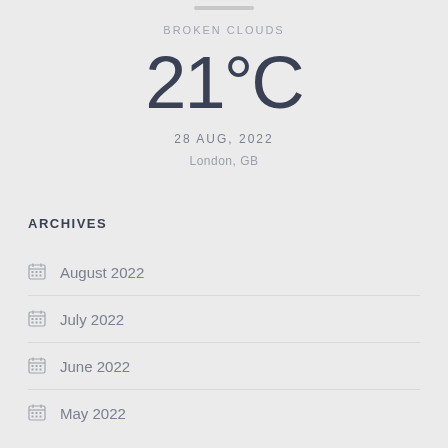BROKEN CLOUDS
21°C
28 AUG, 2022
London, GB
ARCHIVES
August 2022
July 2022
June 2022
May 2022